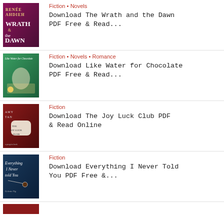[Figure (illustration): Book cover: The Wrath and the Dawn by Renee Ahdieh, dark magenta/purple background]
Fiction • Novels
Download The Wrath and the Dawn PDF Free & Read...
[Figure (illustration): Book cover: Like Water for Chocolate, green/teal illustrated kitchen scene]
Fiction • Novels • Romance
Download Like Water for Chocolate PDF Free & Read...
[Figure (illustration): Book cover: The Joy Luck Club by Amy Tan, dark red ornate cover]
Fiction
Download The Joy Luck Club PDF & Read Online
[Figure (illustration): Book cover: Everything I Never Told You by Celeste Ng, dark blue cover with handwritten text]
Fiction
Download Everything I Never Told You PDF Free &...
[Figure (illustration): Book cover: partially visible red book cover at bottom]